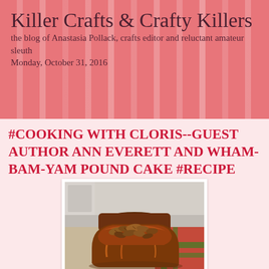Killer Crafts & Crafty Killers
the blog of Anastasia Pollack, crafts editor and reluctant amateur sleuth
Monday, October 31, 2016
#COOKING WITH CLORIS--GUEST AUTHOR ANN EVERETT AND WHAM-BAM-YAM POUND CAKE #RECIPE
[Figure (photo): A pecan-topped pound cake loaf with glossy caramel glaze, photographed on a plaid tablecloth]